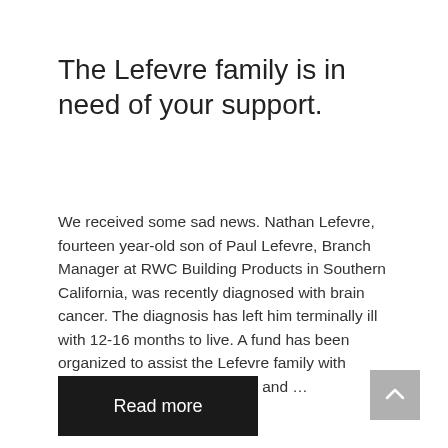The Lefevre family is in need of your support.
We received some sad news. Nathan Lefevre, fourteen year-old son of Paul Lefevre, Branch Manager at RWC Building Products in Southern California, was recently diagnosed with brain cancer. The diagnosis has left him terminally ill with 12-16 months to live. A fund has been organized to assist the Lefevre family with upcoming financial hardships and …
Read more